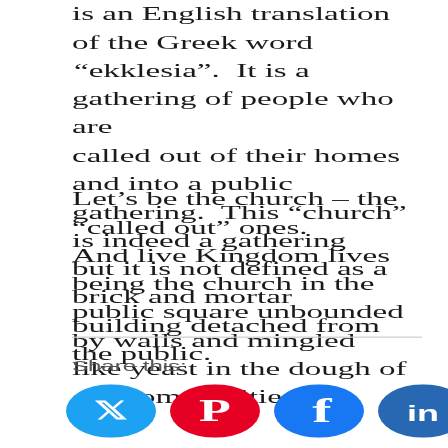is an English translation of the Greek word “ekklesia”. It is a gathering of people who are called out of their homes and into a public gathering. This “church” is indeed a gathering but it is not defined as a brick and mortar building detached from the public.
Let’s be the church – the “called out” ones. And live Kingdom lives being the church in the public square unbounded by walls and mingled like yeast in the dough of our communities.
Share this: